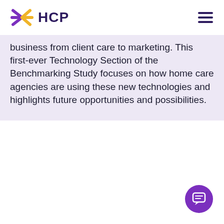HCP
business from client care to marketing. This first-ever Technology Section of the Benchmarking Study focuses on how home care agencies are using these new technologies and highlights future opportunities and possibilities.